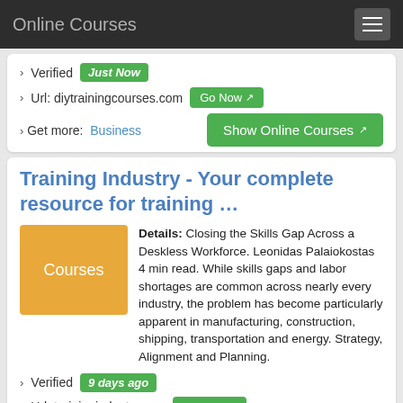Online Courses
› Verified  Just Now
› Url: diytrainingcourses.com  Go Now
› Get more:  Business  Show Online Courses
Training Industry - Your complete resource for training …
Details: Closing the Skills Gap Across a Deskless Workforce. Leonidas Palaiokostas 4 min read. While skills gaps and labor shortages are common across nearly every industry, the problem has become particularly apparent in manufacturing, construction, shipping, transportation and energy. Strategy, Alignment and Planning.
› Verified  9 days ago
› Url: trainingindustry.com  Go Now